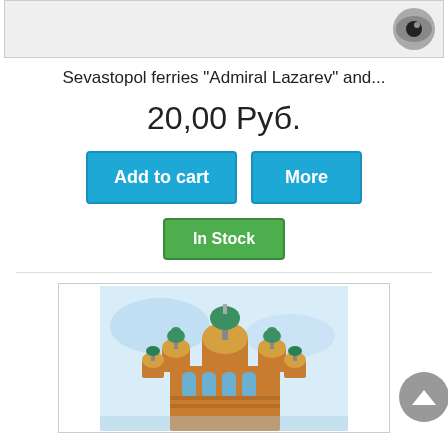[Figure (photo): Product image top area with partial view and eye/magnifier icon in bottom-right corner]
Sevastopol ferries "Admiral Lazarev" and...
20,00 Руб.
Add to cart
More
In Stock
[Figure (illustration): Watercolor illustration of the Church of the Savior on Spilled Blood (Saint Petersburg), showing colorful onion domes in gold, green and teal against a blue sky background]